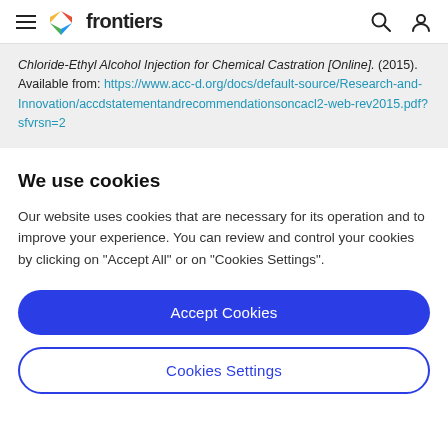frontiers
Chloride-Ethyl Alcohol Injection for Chemical Castration [Online]. (2015). Available from: https://www.acc-d.org/docs/default-source/Research-and-Innovation/accdstatementandrecommendationsoncacl2-web-rev2015.pdf?sfvrsn=2
We use cookies
Our website uses cookies that are necessary for its operation and to improve your experience. You can review and control your cookies by clicking on "Accept All" or on "Cookies Settings".
Accept Cookies
Cookies Settings